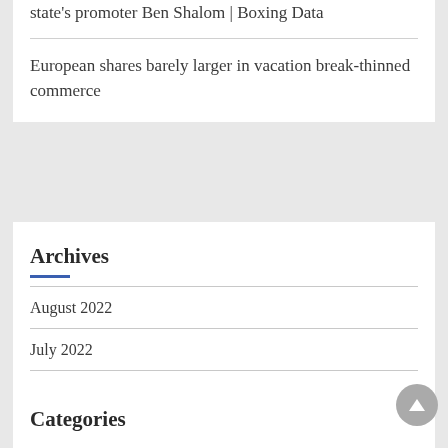state's promoter Ben Shalom | Boxing Data
European shares barely larger in vacation break-thinned commerce
Archives
August 2022
July 2022
June 2022
May 2022
April 2022
Categories